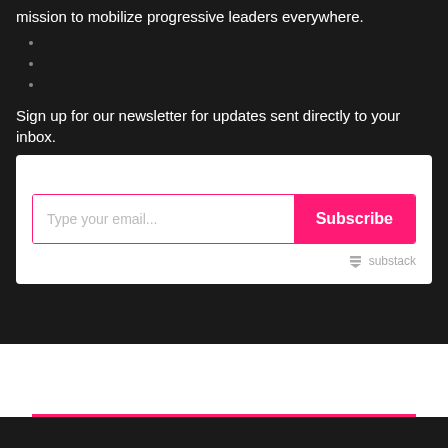mission to mobilize progressive leaders everywhere.
Sign up for our newsletter for updates sent directly to your inbox.
[Figure (screenshot): Email subscription widget with text input field placeholder 'Type your email...' and a pink 'Subscribe' button, with Substack branding in the bottom right corner.]